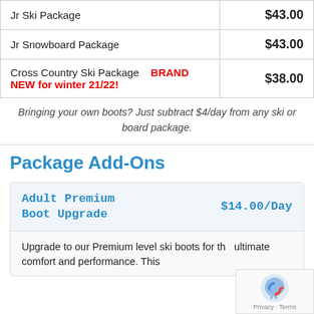| Item | Price |
| --- | --- |
| Jr Ski Package | $43.00 |
| Jr Snowboard Package | $43.00 |
| Cross Country Ski Package  BRAND NEW for winter 21/22! | $38.00 |
Bringing your own boots? Just subtract $4/day from any ski or board package.
Package Add-Ons
| Adult Premium Boot Upgrade | $14.00/Day |
| --- | --- |
| Upgrade to our Premium level ski boots for the ultimate comfort and performance. This |  |